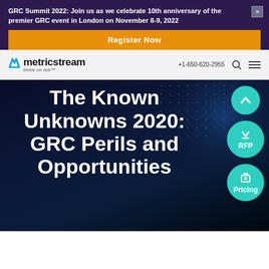GRC Summit 2022: Join us as we celebrate 10th anniversary of the premier GRC event in London on November 8-9, 2022
Register Now
[Figure (logo): MetricStream logo with tagline 'thrive on risk™' and navigation bar showing phone number +1-650-620-2955, search icon, and hamburger menu]
The Known Unknowns 2020: GRC Perils and Opportunities
[Figure (infographic): Three circular teal buttons on the right side: an up-arrow chevron button, an RFP button with download arrow, and a Pricing button with tag icon]